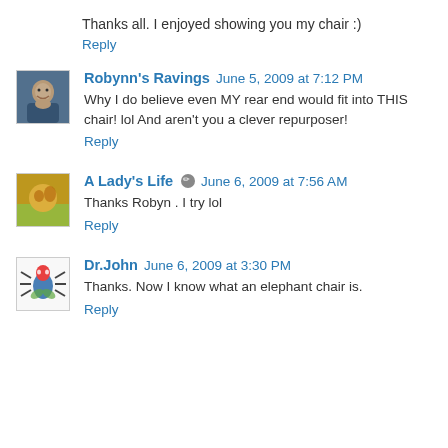Thanks all. I enjoyed showing you my chair :)
Reply
Robynn's Ravings  June 5, 2009 at 7:12 PM
Why I do believe even MY rear end would fit into THIS chair! lol And aren't you a clever repurposer!
Reply
A Lady's Life  June 6, 2009 at 7:56 AM
Thanks Robyn . I try lol
Reply
Dr.John  June 6, 2009 at 3:30 PM
Thanks. Now I know what an elephant chair is.
Reply